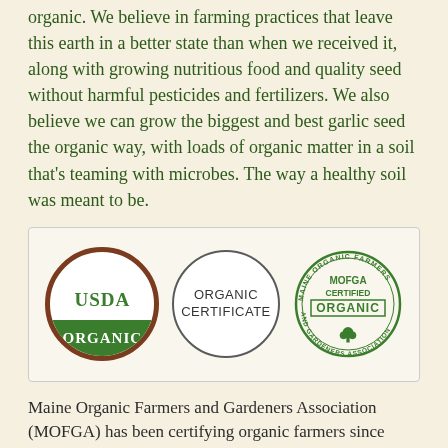organic. We believe in farming practices that leave this earth in a better state than when we received it, along with growing nutritious food and quality seed without harmful pesticides and fertilizers. We also believe we can grow the biggest and best garlic seed the organic way, with loads of organic matter in a soil that's teaming with microbes. The way a healthy soil was meant to be.
[Figure (logo): Three organic certification logos: USDA Organic (circular brown and green seal), Organic Certificate (simple circle with text), and MOFGA Certified Organic (Maine Organic Farmers and Gardeners Association circular seal with tree)]
Maine Organic Farmers and Gardeners Association (MOFGA) has been certifying organic farmers since 1972 and is one of the country's oldest organic certifiers. We are proud to be a MOFGA-certified